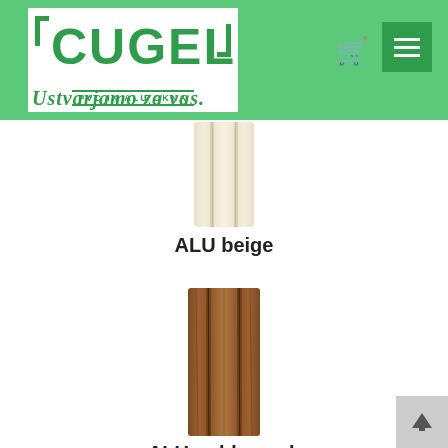[Figure (logo): Cugeli PVC IN ALU OKNA logo with tagline 'Ustvarjamo za vas.' on green header background]
[Figure (photo): ALU beige window profile sample — vertical light beige/cream colored strip with grooves]
ALU beige
[Figure (photo): ALU golden oak window profile sample — vertical brown wood-grain colored strip with grooves]
ALU golden oak